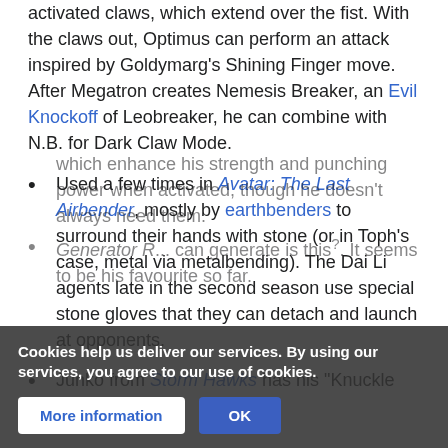activated claws, which extend over the fist. With the claws out, Optimus can perform an attack inspired by Goldymarg's Shining Finger move. After Megatron creates Nemesis Breaker, an Evil Knockoff of Leobreaker, he can combine with N.B. for Dark Claw Mode.
Used a few times in Avatar: The Last Airbender, mostly by earthbenders to surround their hands with stone (or in Toph's case, metal via metalbending). The Dai Li agents late in the second season use special stone gloves that they can detach and launch at opponents.
Junko from Storm Hawks has his "Knuckle Busters",
which enhance his strength and punching power when activated, though he doesn't always need them.
Generator R... can generate is this. It seems to be his favourite so far.
Cookies help us deliver our services. By using our services, you agree to our use of cookies.